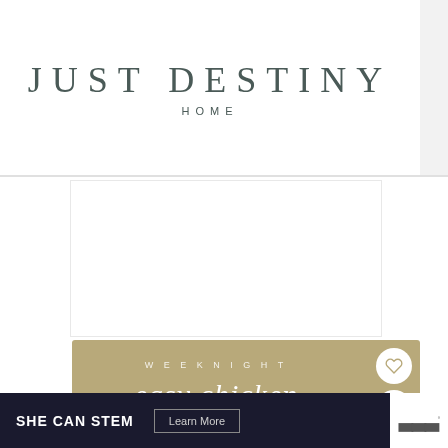JUST DESTINY
HOME
[Figure (other): White advertisement/placeholder box]
[Figure (other): Gold colored recipe card image with text 'WEEKNIGHT easy chicken pot pie' with heart and share buttons, and a 'What's Next - Apple Pie Spice Labels' panel]
SHE CAN STEM  Learn More